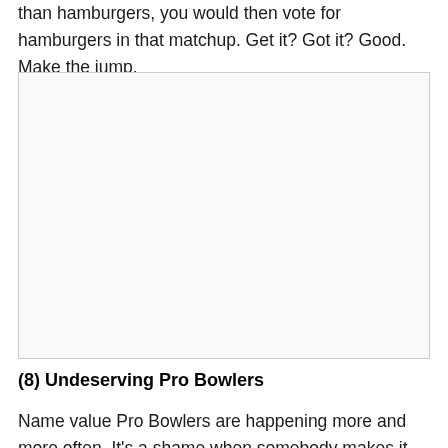than hamburgers, you would then vote for hamburgers in that matchup. Get it? Got it? Good. Make the jump.
[Figure (other): Empty placeholder image area with light gray background and border]
(8) Undeserving Pro Bowlers
Name value Pro Bowlers are happening more and more often. It's a shame when somebody makes it